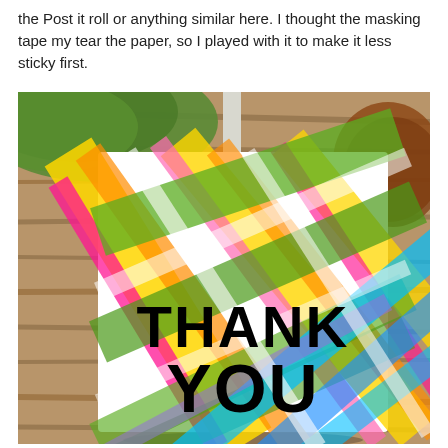the Post it roll or anything similar here. I thought the masking tape my tear the paper, so I played with it to make it less sticky first.
[Figure (photo): A colorful plaid/tartan patterned thank-you card with bold black text reading 'THANK YOU', propped up on a wooden table with green grass and brown earth visible in the blurred background. The card features diagonal stripes in yellow, orange, pink, green, blue, and white.]